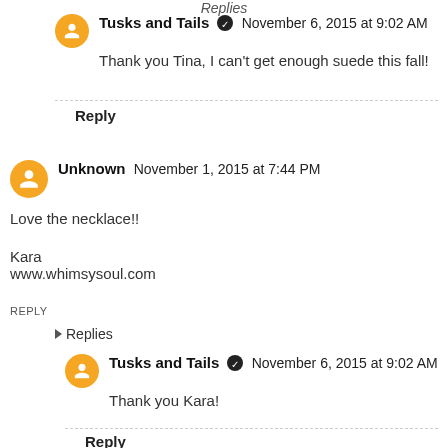Replies
Tusks and Tails ✓  November 6, 2015 at 9:02 AM
Thank you Tina, I can't get enough suede this fall!
Reply
Unknown  November 1, 2015 at 7:44 PM
Love the necklace!!

Kara
www.whimsysoul.com
REPLY
▸ Replies
Tusks and Tails ✓  November 6, 2015 at 9:02 AM
Thank you Kara!
Reply